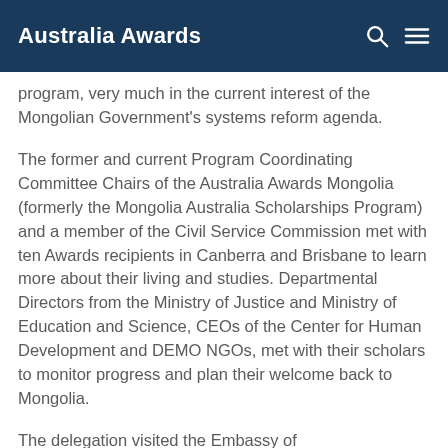Australia Awards
program, very much in the current interest of the Mongolian Government's systems reform agenda.
The former and current Program Coordinating Committee Chairs of the Australia Awards Mongolia (formerly the Mongolia Australia Scholarships Program) and a member of the Civil Service Commission met with ten Awards recipients in Canberra and Brisbane to learn more about their living and studies. Departmental Directors from the Ministry of Justice and Ministry of Education and Science, CEOs of the Center for Human Development and DEMO NGOs, met with their scholars to monitor progress and plan their welcome back to Mongolia.
The delegation visited the Embassy of